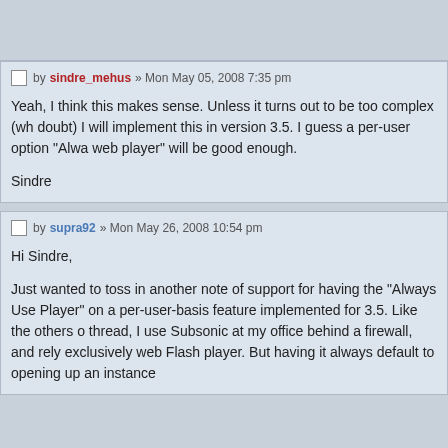by sindre_mehus » Mon May 05, 2008 7:35 pm
Yeah, I think this makes sense. Unless it turns out to be too complex (wh... doubt) I will implement this in version 3.5. I guess a per-user option "Alwa... web player" will be good enough.

Sindre
by supra92 » Mon May 26, 2008 10:54 pm
Hi Sindre,

Just wanted to toss in another note of support for having the "Always Use... Player" on a per-user-basis feature implemented for 3.5. Like the others o... thread, I use Subsonic at my office behind a firewall, and rely exclusively... web Flash player. But having it always default to opening up an instance...